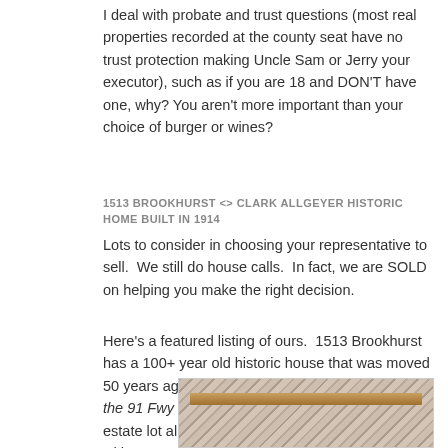I deal with probate and trust questions (most real properties recorded at the county seat have no trust protection making Uncle Sam or Jerry your executor), such as if you are 18 and DON'T have one, why? You aren't more important than your choice of burger or wines?
1513 BROOKHURST <> CLARK ALLGEYER HISTORIC HOME BUILT IN 1914
Lots to consider in choosing your representative to sell.  We still do house calls.  In fact, we are SOLD on helping you make the right decision.
Here's a featured listing of ours.  1513 Brookhurst has a 100+ year old historic house that was moved 50 years ago from Anaheim to Fullerton.  Before the 91 Fwy was built.  The large 12,000 sq ft mini estate lot already had a dwelling, a 1 bd 1 bath with garage.  Today you can get two on a lot, with a
[Figure (photo): Interior photo showing a marble or stone surface with a wooden rail/frame, with intricate patterned stone texture visible]